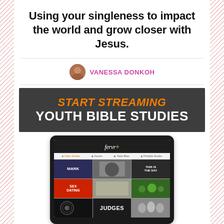Using your singleness to impact the world and grow closer with Jesus.
VANESSA DONKOH
[Figure (infographic): Dark banner advertisement reading 'START STREAMING YOUTH BIBLE STUDIES' with orange and white text on dark grey background, followed by a tablet device screenshot showing the fervr+ streaming platform interface with video study thumbnails including MARK, THIS IS THE DAY, SEX DATING, and JUDGES.]